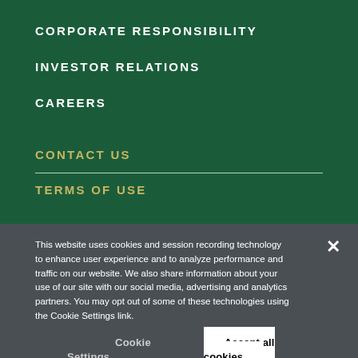CORPORATE RESPONSIBILITY
INVESTOR RELATIONS
CAREERS
CONTACT US
TERMS OF USE
This website uses cookies and session recording technology to enhance user experience and to analyze performance and traffic on our website. We also share information about your use of our site with our social media, advertising and analytics partners. You may opt out of some of these technologies using the Cookie Settings link.
Cookie Settings
Accept all cookies